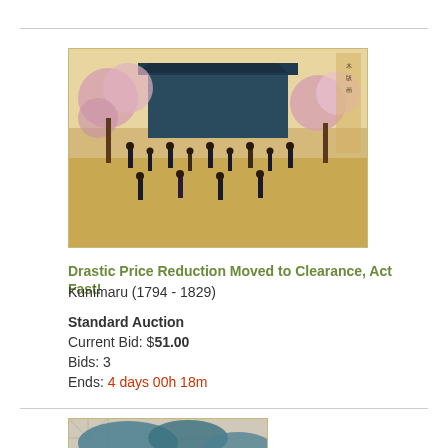[Figure (photo): Japanese woodblock print showing a temple or shrine scene with many figures, cherry blossom trees, and a large building in the background. Landscape orientation.]
Drastic Price Reduction Moved to Clearance, Act Fast!
Kunimaru (1794 - 1829)
Standard Auction
Current Bid: $51.00
Bids: 3
Ends: 4 days 00h 18m
[Figure (photo): Japanese woodblock print showing a figure in traditional costume with patterned garments, with decorative background elements.]